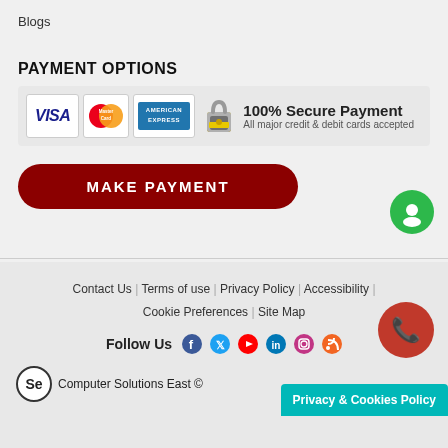Blogs
PAYMENT OPTIONS
[Figure (infographic): Payment options banner showing Visa, MasterCard, American Express logos, a padlock icon, and text '100% Secure Payment - All major credit & debit cards accepted']
MAKE PAYMENT
[Figure (illustration): Green chat bubble icon (circular)]
Contact Us | Terms of use | Privacy Policy | Accessibility | Cookie Preferences | Site Map
Follow Us
[Figure (infographic): Social media icons: Facebook, Twitter, YouTube, LinkedIn, Instagram, RSS feed]
[Figure (logo): Computer Solutions East logo (circular SE logo) with text 'Computer Solutions East ©']
Privacy & Cookies Policy
[Figure (illustration): Red circular phone button]